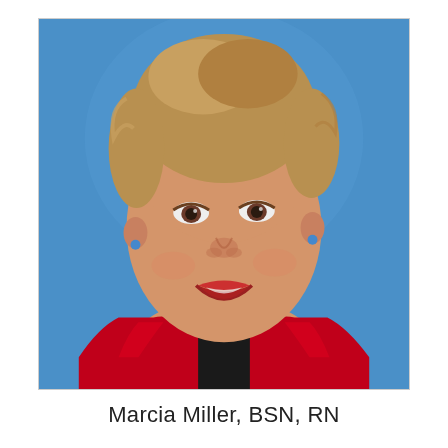[Figure (photo): Headshot photo of a middle-aged woman with short blonde hair, smiling, wearing a black turtleneck and red satin jacket, against a blue background.]
Marcia Miller, BSN, RN